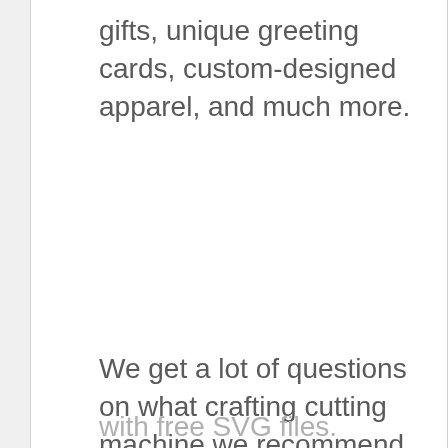gifts, unique greeting cards, custom-designed apparel, and much more.
We get a lot of questions on what crafting cutting machine we recommend for using with free SVG files.